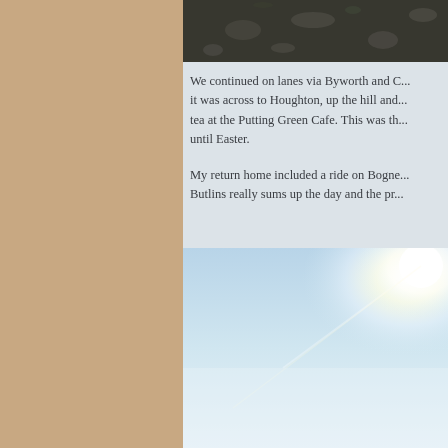[Figure (photo): Partial view of a road or ground surface with gravel/stones, dark tones, cropped at top of right panel]
We continued on lanes via Byworth and C... it was across to Houghton, up the hill and... tea at the Putting Green Cafe. This was th... until Easter.

My return home included a ride on Bogne... Butlins really sums up the day and the pr...
[Figure (photo): Bright sky photo with sunlight glare/lens flare on the right side, light blue gradient sky]